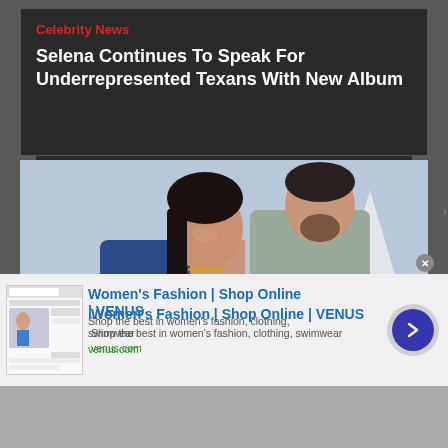Celebrity News
Selena Continues To Speak For Underrepresented Texans With New Album
[Figure (photo): A couple outdoors near water with sailboats in the background. A woman with dark hair wearing jewelry and a man in a gray sweater embracing her from behind.]
infolinks
[Figure (screenshot): Advertisement thumbnail showing fashion website screenshot]
Women's Fashion | Shop Online | VENUS
Shop the best in women's fashion, clothing, swimwear
venus.com